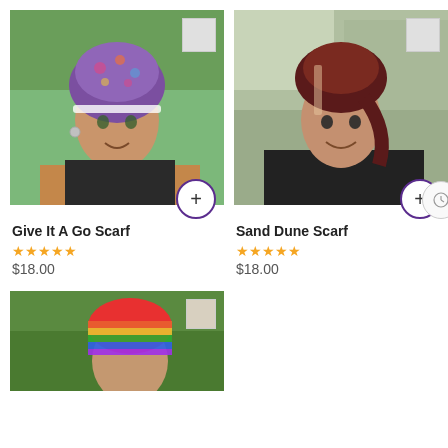[Figure (photo): Woman wearing colorful floral purple/pink turban scarf, orange cardigan, green leafy background]
Give It A Go Scarf
★★★★★
$18.00
[Figure (photo): Woman wearing dark brown/maroon scarf tied at back, black sweater, outdoor blurred background]
Sand Dune Scarf
★★★★★
$18.00
[Figure (photo): Woman wearing rainbow striped headscarf, green outdoor background, partial view]